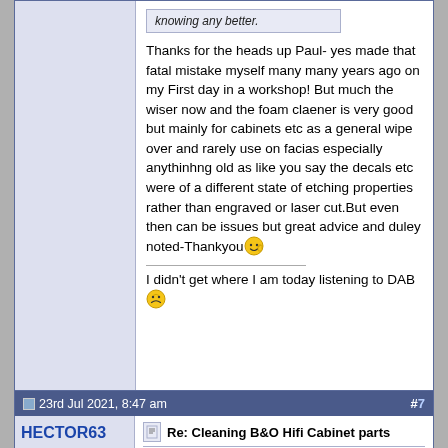knowing any better.
Thanks for the heads up Paul- yes made that fatal mistake myself many many years ago on my First day in a workshop! But much the wiser now and the foam claener is very good but mainly for cabinets etc as a general wipe over and rarely use on facias especially anythinhng old as like you say the decals etc were of a different state of etching properties rather than engraved or laser cut.But even then can be issues but great advice and duley noted-Thankyou
I didn't get where I am today listening to DAB
23rd Jul 2021, 8:47 am
#7
HECTOR63
Heptode
Re: Cleaning B&O Hifi Cabinet parts
Quote: